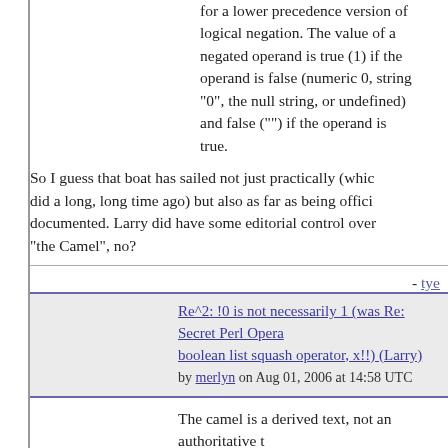for a lower precedence version of logical negation. The value of a negated operand is true (1) if the operand is false (numeric 0, string "0", the null string, or undefined) and false ("") if the operand is true.
So I guess that boat has sailed not just practically (which did a long, long time ago) but also as far as being officially documented. Larry did have some editorial control over "the Camel", no?
- tye
Re^2: !0 is not necessarily 1 (was Re: Secret Perl Operators: boolean list squash operator, x!!) (Larry)
by merlyn on Aug 01, 2006 at 14:58 UTC
The camel is a derived text, not an authoritative t because it's never viewed as "a required doc" for development.
When the patch is made to perldoc, I'll shut up ab